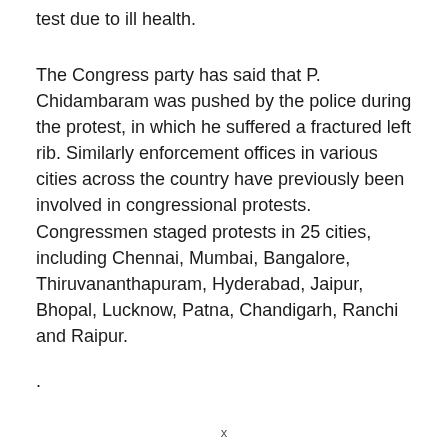test due to ill health.
The Congress party has said that P. Chidambaram was pushed by the police during the protest, in which he suffered a fractured left rib. Similarly enforcement offices in various cities across the country have previously been involved in congressional protests. Congressmen staged protests in 25 cities, including Chennai, Mumbai, Bangalore, Thiruvananthapuram, Hyderabad, Jaipur, Bhopal, Lucknow, Patna, Chandigarh, Ranchi and Raipur.
.